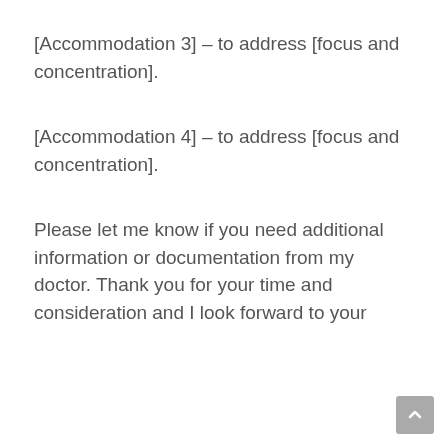[Accommodation 3] – to address [focus and concentration].
[Accommodation 4] – to address [focus and concentration].
Please let me know if you need additional information or documentation from my doctor. Thank you for your time and consideration and I look forward to your